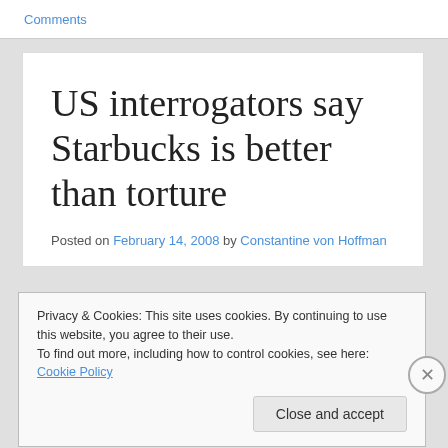Comments
US interrogators say Starbucks is better than torture
Posted on February 14, 2008 by Constantine von Hoffman
Privacy & Cookies: This site uses cookies. By continuing to use this website, you agree to their use.
To find out more, including how to control cookies, see here: Cookie Policy